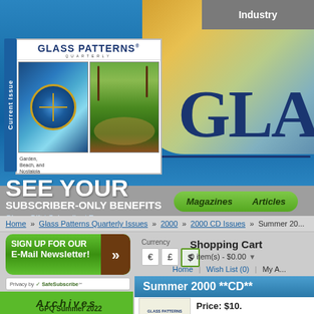Industry
[Figure (screenshot): Glass Patterns Quarterly magazine cover showing stained glass designs - Garden, Beach, and Nostalgia Issue]
GLA
SEE YOUR
SUBSCRIBER-ONLY BENEFITS
Give a Gift | Subscribe | Renew
Magazines   Articles
Home » Glass Patterns Quarterly Issues » 2000 » 2000 CD Issues » Summer 20...
SIGN UP FOR OUR E-Mail Newsletter! »
Privacy by SafeSubscribe℠
Archives
GPQ Summer 2022
Currency € £ $
Shopping Cart
0 item(s) - $0.00
Home | Wish List (0) | My A...
Summer 2000 **CD**
Price: $10.
[Figure (logo): Glass Patterns Quarterly logo/cover thumbnail]